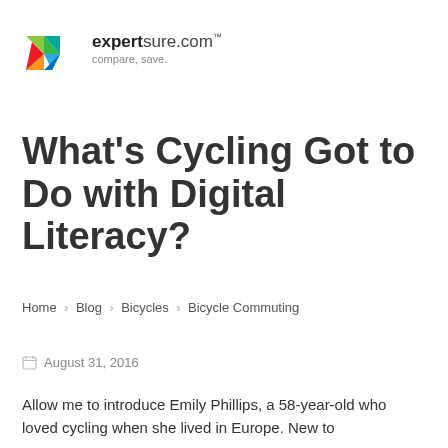[Figure (logo): Expertsure.com logo with colorful butterfly/arrow icon and tagline 'compare, save.']
What's Cycling Got to Do with Digital Literacy?
Home › Blog › Bicycles › Bicycle Commuting
August 31, 2016
Allow me to introduce Emily Phillips, a 58-year-old who loved cycling when she lived in Europe. New to